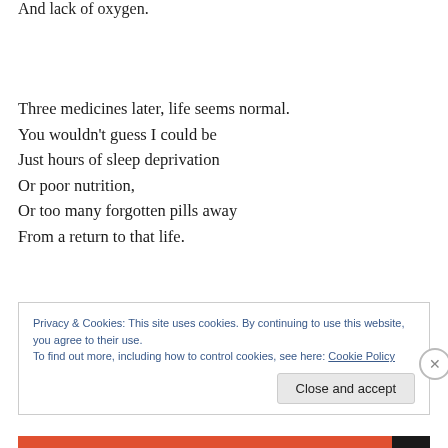And lack of oxygen.
Three medicines later, life seems normal.
You wouldn't guess I could be
Just hours of sleep deprivation
Or poor nutrition,
Or too many forgotten pills away
From a return to that life.
Privacy & Cookies: This site uses cookies. By continuing to use this website, you agree to their use.
To find out more, including how to control cookies, see here: Cookie Policy
Close and accept